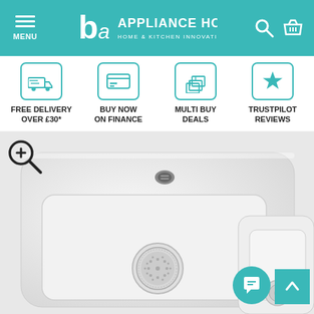Appliance House — Home & Kitchen Innovation
[Figure (infographic): Four feature icons: Free Delivery Over £30*, Buy Now On Finance, Multi Buy Deals, Trustpilot Reviews]
[Figure (photo): Close-up of a white ceramic kitchen sink with chrome strainer basket and overflow drain, with a zoom magnifier icon in the top-left corner, a teal chat button, and a teal scroll-to-top button in the bottom-right]